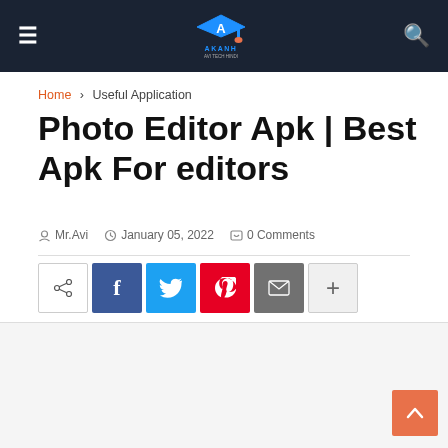≡  [AKANH Logo]  🔍
Home › Useful Application
Photo Editor Apk | Best Apk For editors
Mr.Avi   January 05, 2022   0 Comments
[Figure (infographic): Social share buttons: share icon, Facebook (f), Twitter (bird), Pinterest (P), Email (envelope), More (+)]
[Figure (other): Gray content/advertisement area below share buttons]